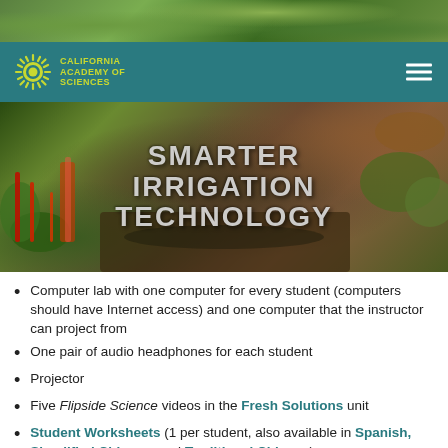[Figure (photo): Top strip photo showing green leafy plants/garden]
[Figure (photo): Navigation bar with California Academy of Sciences logo and hamburger menu on teal background]
[Figure (photo): Garden photo with 3D text letters spelling SMARTER IRRIGATION TECHNOLOGY surrounded by vegetables and soil]
Computer lab with one computer for every student (computers should have Internet access) and one computer that the instructor can project from
One pair of audio headphones for each student
Projector
Five Flipside Science videos in the Fresh Solutions unit
Student Worksheets (1 per student, also available in Spanish, Simplified Chinese, and Traditional Chinese)
Supplemental readings (optional)